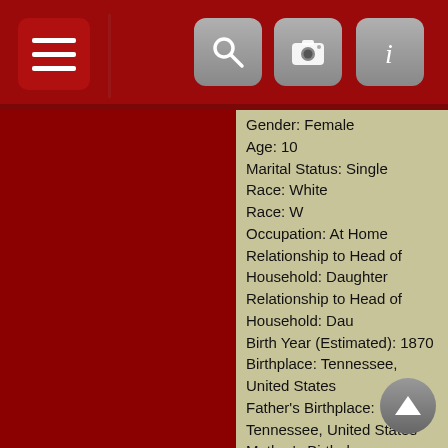Gender: Female
Age: 10
Marital Status: Single
Race: White
Race: W
Occupation: At Home
Relationship to Head of Household: Daughter
Relationship to Head of Household: Dau
Birth Year (Estimated): 1870
Birthplace: Tennessee, United States
Father's Birthplace: Tennessee, United States
Mother's Birthplace: Tennessee, United States
Note:
Sheet Letter: A
Sheet Number: 168
Sheet Number and Letter: 168A
Household ID: 13186969
Person Number: 3
Volume: 1
Affiliate Name: The U.S. National Archives and Records Administration (NARA)
Affiliate Publication Number: T9
Affiliate Film Number: 1252
GS Film Number: 1255252
Digital Folder Number: 005162355
Image Number: 00341